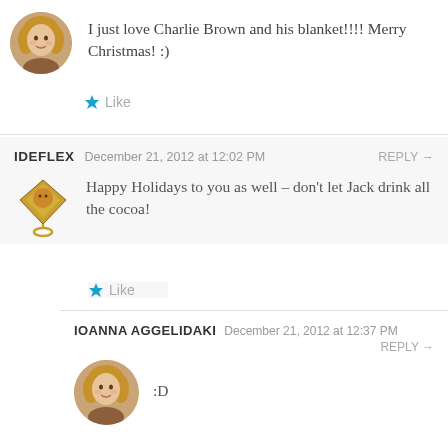I just love Charlie Brown and his blanket!!!! Merry Christmas! :)
★ Like
IDEFLEX   December 21, 2012 at 12:02 PM   REPLY →
Happy Holidays to you as well – don't let Jack drink all the cocoa!
★ Like
IOANNA AGGELIDAKI   December 21, 2012 at 12:37 PM   REPLY →
:D